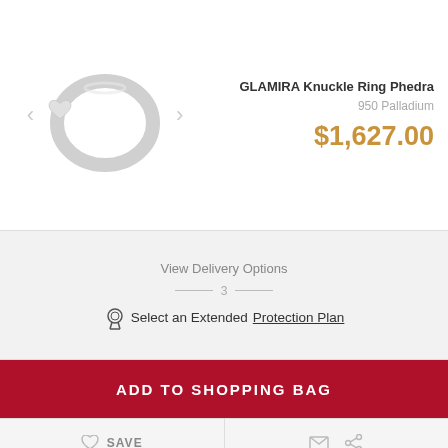[Figure (photo): GLAMIRA Knuckle Ring Phedra product photo - silver ring with heart detail, shown between left/right navigation arrows]
GLAMIRA Knuckle Ring Phedra
950 Palladium
$1,627.00
View Delivery Options
3
Select an Extended Protection Plan
ADD TO SHOPPING BAG
SAVE
Order now, gift before delivery
Learn More [?]
ASK A QUESTION
CONTACT US
FAQ